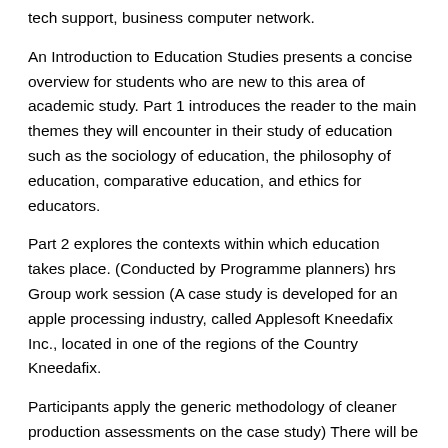tech support, business computer network.
An Introduction to Education Studies presents a concise overview for students who are new to this area of academic study. Part 1 introduces the reader to the main themes they will encounter in their study of education such as the sociology of education, the philosophy of education, comparative education, and ethics for educators.
Part 2 explores the contexts within which education takes place. (Conducted by Programme planners) hrs Group work session (A case study is developed for an apple processing industry, called Applesoft Kneedafix Inc., located in one of the regions of the Country Kneedafix.
Participants apply the generic methodology of cleaner production assessments on the case study) There will be five groups. Programme of study definition ata free online dictionary with pronunciation, synonyms and translation.
Look it up now. Introduction to scholarship: a practical guide to building academic skills for tertiary study offers a practical, skills-based approach to developing the basic academic and critical thinking